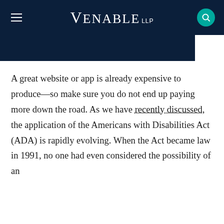Venable LLP
A great website or app is already expensive to produce—so make sure you do not end up paying more down the road. As we have recently discussed, the application of the Americans with Disabilities Act (ADA) is rapidly evolving. When the Act became law in 1991, no one had even considered the possibility of an